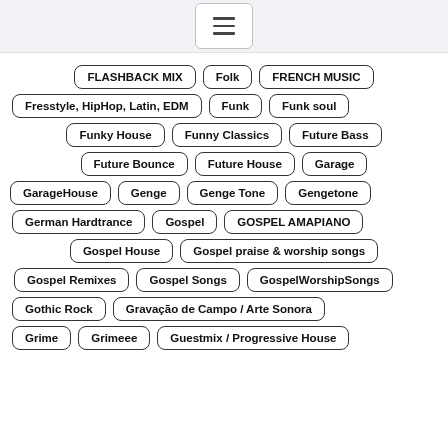FLASHBACK MIX
Folk
FRENCH MUSIC
Fresstyle, HipHop, Latin, EDM
Funk
Funk soul
Funky House
Funny Classics
Future Bass
Future Bounce
Future House
Garage
GarageHouse
Genge
Genge Tone
Gengetone
German Hardtrance
Gospel
GOSPEL AMAPIANO
Gospel House
Gospel praise & worship songs
Gospel Remixes
Gospel Songs
GospelWorshipSongs
Gothic Rock
Gravação de Campo / Arte Sonora
Grime
Grimeee
Guestmix / Progressive House